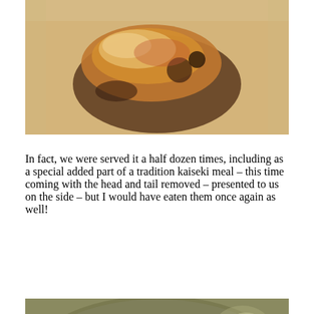[Figure (photo): Close-up photo of a grilled or cooked food item on a light surface, dark and golden-brown coloring]
In fact, we were served it a half dozen times, including as a special added part of a tradition kaiseki meal – this time coming with the head and tail removed – presented to us on the side – but I would have eaten them once again as well!
[Figure (photo): Photo of a dark-colored seafood or food item on a plate with soup or sauce, appearing to show a crustacean or similar food]